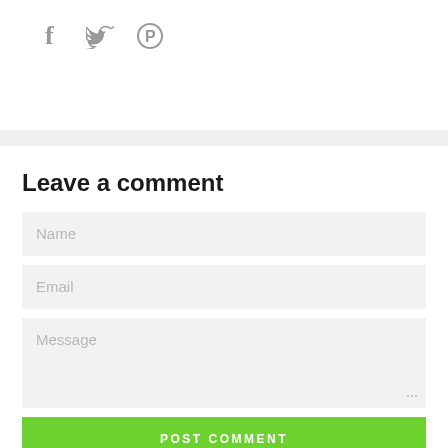[Figure (other): Social media share icons: Facebook (f), Twitter (bird), Pinterest (P)]
Leave a comment
[Figure (other): Comment form with Name input field, Email input field, Message textarea, and POST COMMENT button]